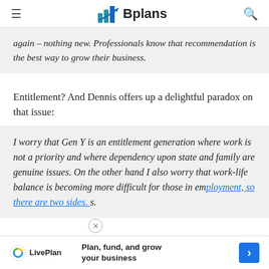Bplans
again – nothing new. Professionals know that recommendation is the best way to grow their business.
Entitlement? And Dennis offers up a delightful paradox on that issue:
I worry that Gen Y is an entitlement generation where work is not a priority and where dependency upon state and family are genuine issues. On the other hand I also worry that work-life balance is becoming more difficult for those in em...s.
Plan, fund, and grow your business